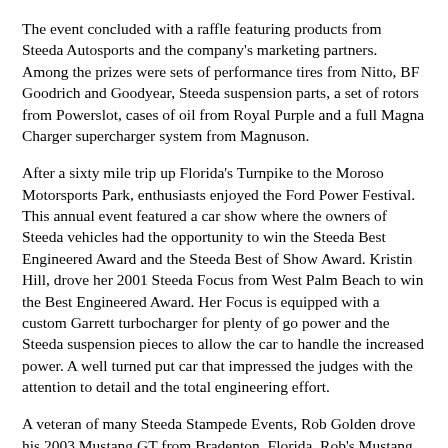The event concluded with a raffle featuring products from Steeda Autosports and the company's marketing partners. Among the prizes were sets of performance tires from Nitto, BF Goodrich and Goodyear, Steeda suspension parts, a set of rotors from Powerslot, cases of oil from Royal Purple and a full Magna Charger supercharger system from Magnuson.
After a sixty mile trip up Florida's Turnpike to the Moroso Motorsports Park, enthusiasts enjoyed the Ford Power Festival. This annual event featured a car show where the owners of Steeda vehicles had the opportunity to win the Steeda Best Engineered Award and the Steeda Best of Show Award. Kristin Hill, drove her 2001 Steeda Focus from West Palm Beach to win the Best Engineered Award. Her Focus is equipped with a custom Garrett turbocharger for plenty of go power and the Steeda suspension pieces to allow the car to handle the increased power. A well turned put car that impressed the judges with the attention to detail and the total engineering effort.
A veteran of many Steeda Stampede Events, Rob Golden drove his 2003 Mustang GT from Bradenton, Florida. Rob's Mustang has a Steeda installed Vortec supercharger along with just about every Steeda performance part in the Mustang catalog. He has very tastefully chromed many of the engine parts, added a stereo/DVD system that is state of the art and has installed I can hear his idea